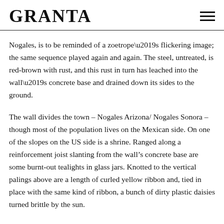GRANTA
Nogales, is to be reminded of a zoetrope’s flickering image; the same sequence played again and again. The steel, untreated, is red-brown with rust, and this rust in turn has leached into the wall’s concrete base and drained down its sides to the ground.
The wall divides the town – Nogales Arizona/ Nogales Sonora – though most of the population lives on the Mexican side. On one of the slopes on the US side is a shrine. Ranged along a reinforcement joist slanting from the wall’s concrete base are some burnt-out tealights in glass jars. Knotted to the vertical palings above are a length of curled yellow ribbon and, tied in place with the same kind of ribbon, a bunch of dirty plastic daisies turned brittle by the sun.